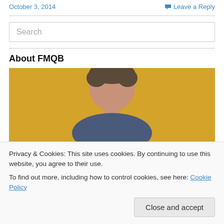October 3, 2014    Leave a Reply
Search
About FMQB
[Figure (photo): A person's head/upper body against a golden/yellow background, shown from the shoulders up.]
Privacy & Cookies: This site uses cookies. By continuing to use this website, you agree to their use.
To find out more, including how to control cookies, see here: Cookie Policy
[Close and accept button]